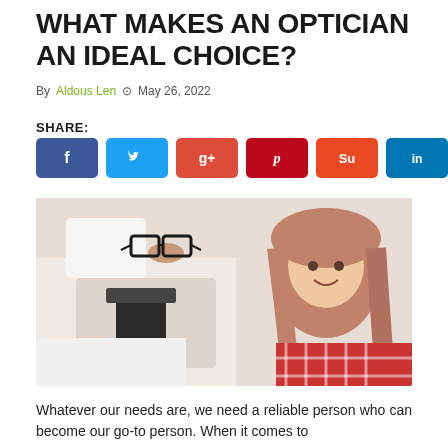WHAT MAKES AN OPTICIAN AN IDEAL CHOICE?
By Aldous Len  ⊙ May 26, 2022
SHARE:
[Figure (photo): An optician handing a pair of black eyeglasses to a smiling young girl with red hair in a plaid shirt, in an optometry clinic setting.]
Whatever our needs are, we need a reliable person who can become our go-to person. When it comes to